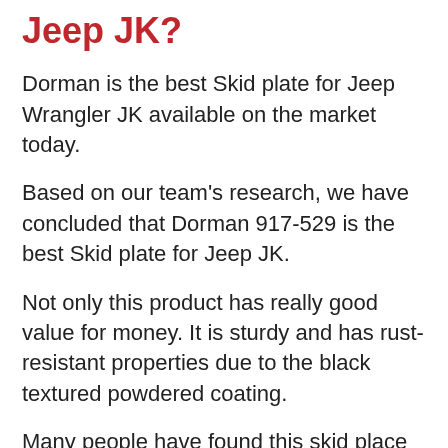Jeep JK?
Dorman is the best Skid plate for Jeep Wrangler JK available on the market today.
Based on our team's research, we have concluded that Dorman 917-529 is the best Skid plate for Jeep JK.
Not only this product has really good value for money. It is sturdy and has rust-resistant properties due to the black textured powdered coating.
Many people have found this skid place to be a perfect fit, a great replacement, and easy to install.